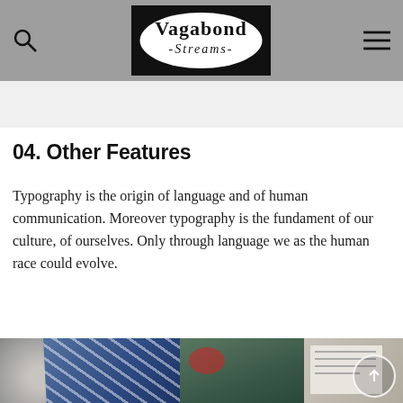Vagabond Streams — navigation bar with search icon, logo, and menu icon
04. Other Features
Typography is the origin of language and of human communication. Moreover typography is the fundament of our culture, of ourselves. Only through language we as the human race could evolve.
[Figure (photo): Photo collage strip at the bottom showing a coffee cup, blue fabric/textile, a tablet or device, green foliage background, and an open book or notebook, with a circular scroll-up arrow button overlay on the right side.]